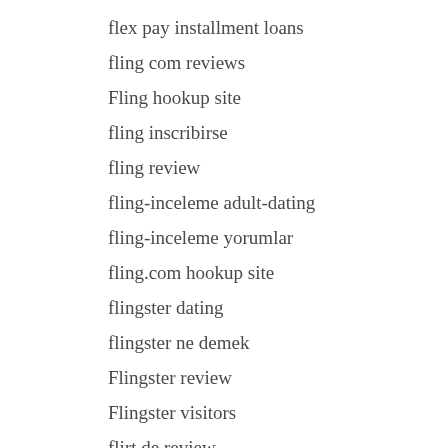flex pay installment loans
fling com reviews
Fling hookup site
fling inscribirse
fling review
fling-inceleme adult-dating
fling-inceleme yorumlar
fling.com hookup site
flingster dating
flingster ne demek
Flingster review
Flingster visitors
flirt de review
flirt reviews
Flirt site de rencontre